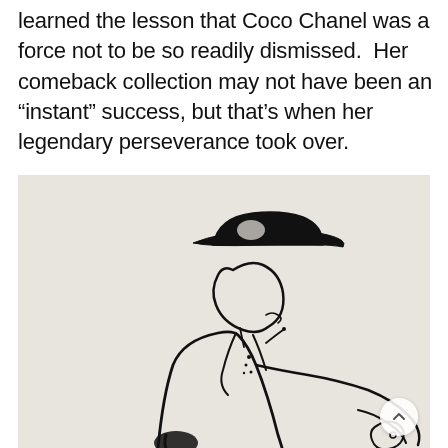learned the lesson that Coco Chanel was a force not to be so readily dismissed. Her comeback collection may not have been an “instant” success, but that’s when her legendary perseverance took over.
[Figure (illustration): A black ink line drawing (cartoon/caricature style) of Coco Chanel seen from a side/profile angle, wearing her iconic brimmed hat with a dark band, a jacket with lapels, and holding something in her hand. The style is loose and gestural, sketched on off-white paper.]